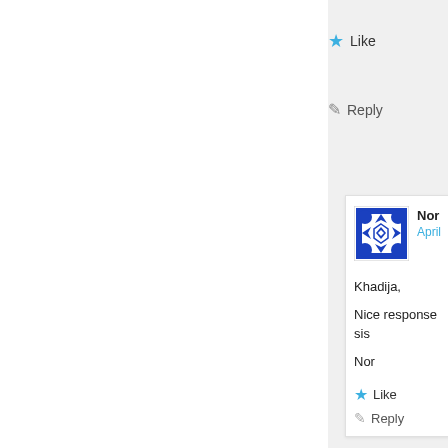Like
Reply
[Figure (illustration): Blue decorative tile/avatar pattern for user Nor]
Nor
April
Khadija,
Nice response sis
Nor
Like
Reply